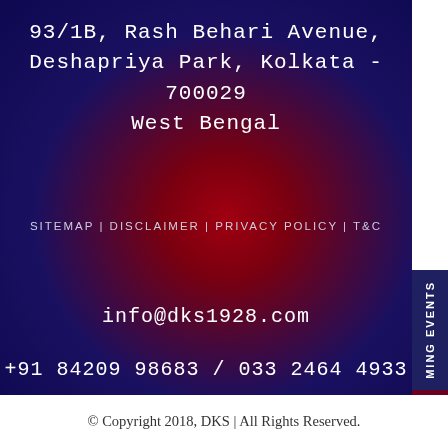93/1B, Rash Behari Avenue, Deshapriya Park, Kolkata - 700029 West Bengal
SITEMAP | DISCLAIMER | PRIVACY POLICY | T&C
info@dks1928.com
+91 84209 98683 / 033 2464 4933
MING EVENTS
TENNIS CIRCULAR
© Copyright 2018, DKS | All Rights Reserved.